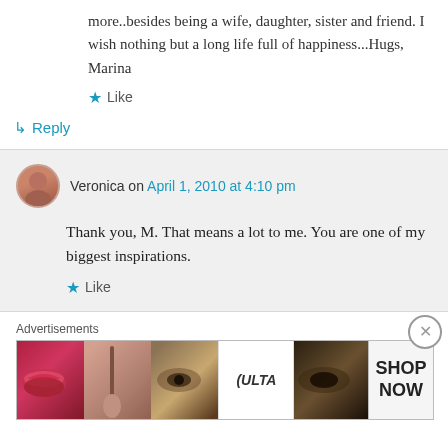more..besides being a wife, daughter, sister and friend. I wish nothing but a long life full of happiness...Hugs, Marina
Like
Reply
Veronica on April 1, 2010 at 4:10 pm
Thank you, M. That means a lot to me. You are one of my biggest inspirations.
Like
Advertisements